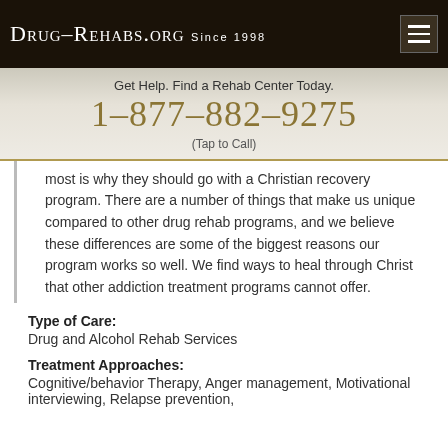Drug-Rehabs.org Since 1998
Get Help.  Find a Rehab Center Today.
1-877-882-9275
(Tap to Call)
most is why they should go with a Christian recovery program. There are a number of things that make us unique compared to other drug rehab programs, and we believe these differences are some of the biggest reasons our program works so well. We find ways to heal through Christ that other addiction treatment programs cannot offer.
Type of Care:
Drug and Alcohol Rehab Services
Treatment Approaches:
Cognitive/behavior Therapy, Anger management, Motivational interviewing, Relapse prevention,